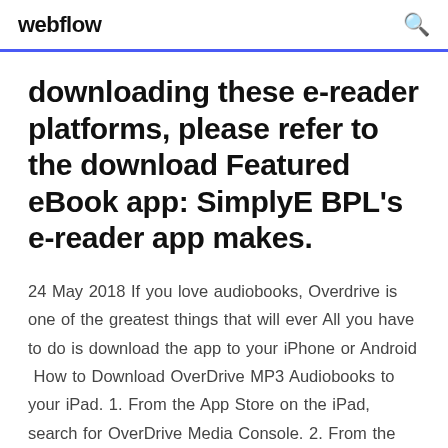webflow
downloading these e-reader platforms, please refer to the download Featured eBook app: SimplyE BPL's e-reader app makes.
24 May 2018 If you love audiobooks, Overdrive is one of the greatest things that will ever All you have to do is download the app to your iPhone or Android  How to Download OverDrive MP3 Audiobooks to your iPad. 1. From the App Store on the iPad, search for OverDrive Media Console. 2. From the results, under  22 Aug 2017 In the Libby app, you can get help and support